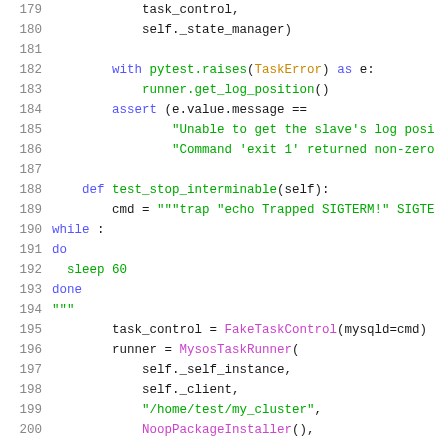Code listing lines 179-200, Python/shell syntax highlighted source code showing test_stop_interminable method